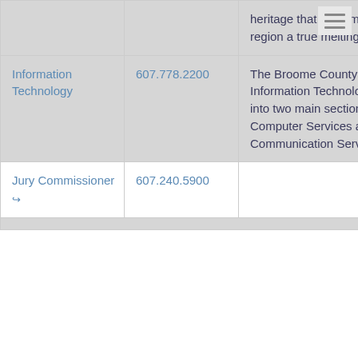| Department | Phone | Description |
| --- | --- | --- |
|  |  | heritage that have made this region a true melting pot. |
| Information Technology | 607.778.2200 | The Broome County Division of Information Technology is divided into two main sections. These are Computer Services and Communication Services. |
| Jury Commissioner ↗ | 607.240.5900 |  |